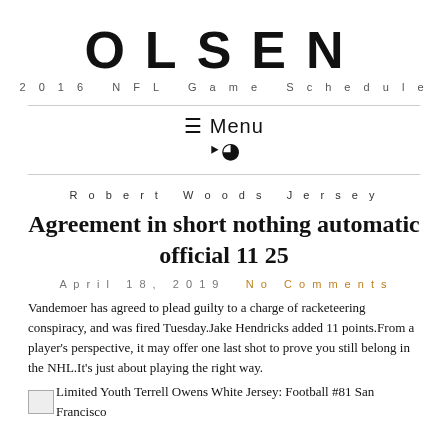OLSEN
2016 NFL Game Schedule
≡ Menu
RSS icon
Robert Woods Jersey
Agreement in short nothing automatic official 11 25
April 18, 2019   No Comments
Vandemoer has agreed to plead guilty to a charge of racketeering conspiracy, and was fired Tuesday.Jake Hendricks added 11 points.From a player's perspective, it may offer one last shot to prove you still belong in the NHL.It's just about playing the right way.
Limited Youth Terrell Owens White Jersey: Football #81 San Francisco